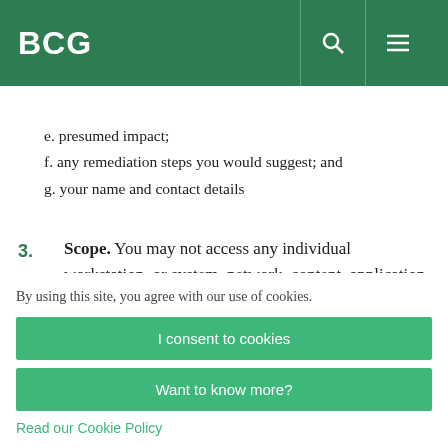BCG
e. presumed impact;
f. any remediation steps you would suggest; and
g. your name and contact details
3. Scope. You may not access any individual workstation, or system, network, content, application or data of any third party, in connection with this program. The safe harbor
By using this site, you agree with our use of cookies.
I consent to cookies
Want to know more?
Read our Cookie Policy